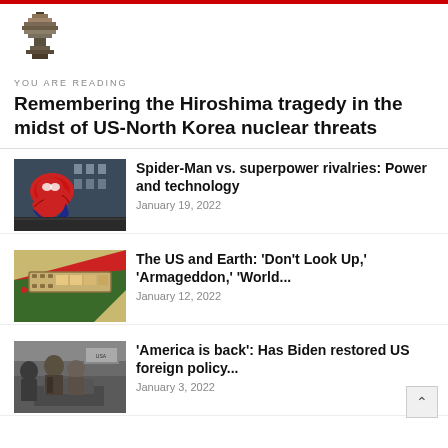[Figure (logo): Website logo - decorative mushroom/tree pixel art icon]
YOU ARE READING
Remembering the Hiroshima tragedy in the midst of US-North Korea nuclear threats
[Figure (photo): Spider-Man in red costume crouching on a surface]
Spider-Man vs. superpower rivalries: Power and technology
January 19, 2022
[Figure (photo): Colorful graphic with red/green design and film strip]
The US and Earth: 'Don't Look Up,' 'Armageddon,' 'World...
January 12, 2022
[Figure (photo): People in suits, appears to be political/diplomatic scene]
'America is back': Has Biden restored US foreign policy...
January 3, 2022